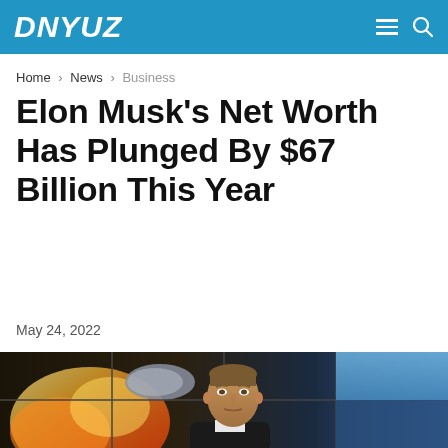DNYUZ
Home > News > Business
Elon Musk's Net Worth Has Plunged By $67 Billion This Year
May 24, 2022
[Figure (photo): Elon Musk standing in front of a video wall displaying SpaceX rocket/spacecraft imagery, with a blue sky background visible on the right side.]